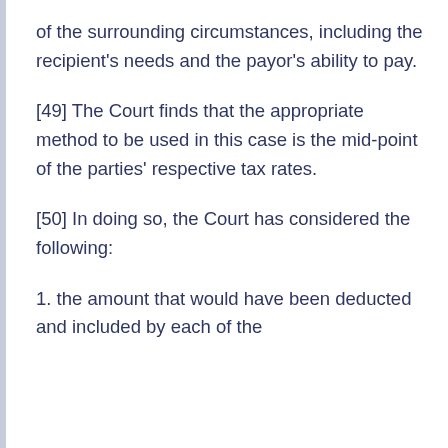of the surrounding circumstances, including the recipient's needs and the payor's ability to pay.
[49] The Court finds that the appropriate method to be used in this case is the mid-point of the parties' respective tax rates.
[50] In doing so, the Court has considered the following:
1. the amount that would have been deducted and included by each of the